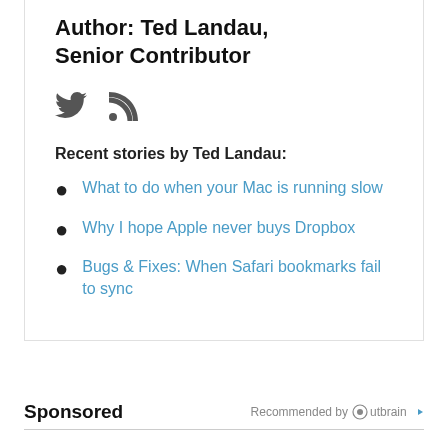Author: Ted Landau, Senior Contributor
[Figure (illustration): Twitter bird icon and RSS feed icon in dark gray]
Recent stories by Ted Landau:
What to do when your Mac is running slow
Why I hope Apple never buys Dropbox
Bugs & Fixes: When Safari bookmarks fail to sync
Sponsored
Recommended by Outbrain